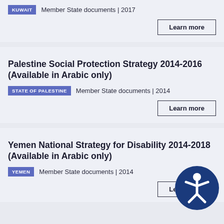KUWAIT  Member State documents | 2017
Learn more
Palestine Social Protection Strategy 2014-2016 (Available in Arabic only)
STATE OF PALESTINE  Member State documents | 2014
Learn more
Yemen National Strategy for Disability 2014-2018 (Available in Arabic only)
YEMEN  Member State documents | 2014
Learn more